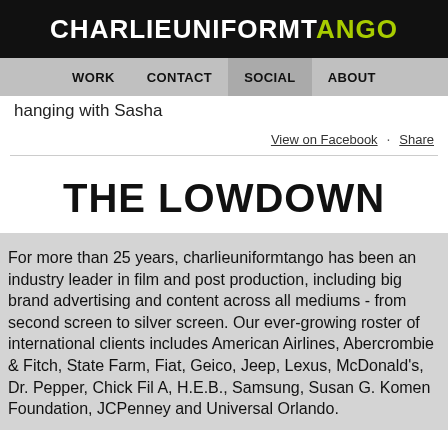CHARLIEUNIFORMTANGO
WORK  CONTACT  SOCIAL  ABOUT
hanging with Sasha
View on Facebook · Share
THE LOWDOWN
For more than 25 years, charlieuniformtango has been an industry leader in film and post production, including big brand advertising and content across all mediums - from second screen to silver screen. Our ever-growing roster of international clients includes American Airlines, Abercrombie & Fitch, State Farm, Fiat, Geico, Jeep, Lexus, McDonald's, Dr. Pepper, Chick Fil A, H.E.B., Samsung, Susan G. Komen Foundation, JCPenney and Universal Orlando.